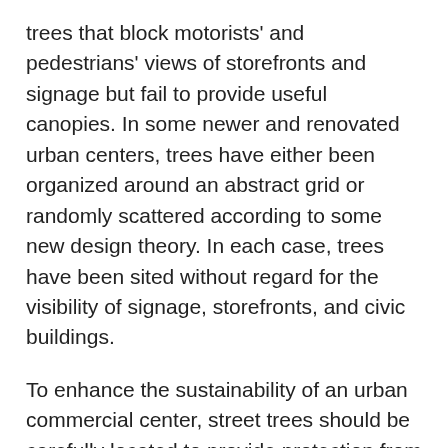trees that block motorists' and pedestrians' views of storefronts and signage but fail to provide useful canopies. In some newer and renovated urban centers, trees have either been organized around an abstract grid or randomly scattered according to some new design theory. In each case, trees have been sited without regard for the visibility of signage, storefronts, and civic buildings.
To enhance the sustainability of an urban commercial center, street trees should be carefully located to provide protection from extreme heat, reduce the scale of the street, mitigate the height of tall buildings, and improve the overall aesthetics of the shopping area. Asymmetrically sized sidewalks can respond to local climate conditions: wide sidewalks accommodate more shade in hot climates or the warming sun in colder regions.
Trees are often planted in a 25-30 foot...